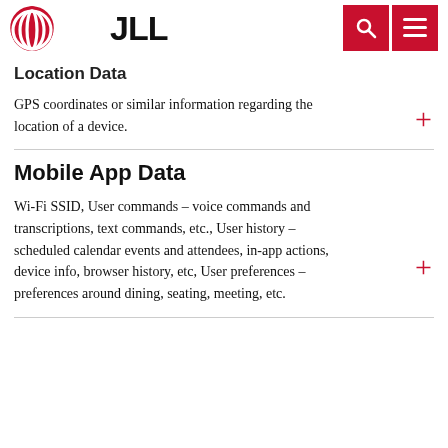[Figure (logo): JLL logo with red concentric ovals icon and bold JLL text, plus red search and menu buttons in the top right header]
Location Data
GPS coordinates or similar information regarding the location of a device.
Mobile App Data
Wi-Fi SSID, User commands – voice commands and transcriptions, text commands, etc., User history – scheduled calendar events and attendees, in-app actions, device info, browser history, etc, User preferences – preferences around dining, seating, meeting, etc.